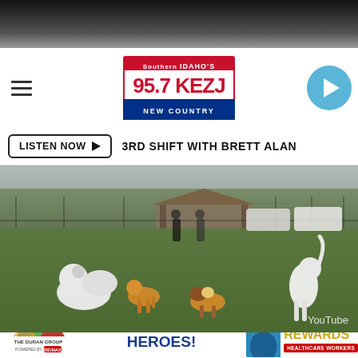95.7 KEZJ Southern Idaho's New Country
LISTEN NOW ▶  3RD SHIFT WITH BRETT ALAN
[Figure (screenshot): Video screenshot of dogs playing in a dog park. Several dogs of different breeds on a grassy field with fencing visible in the background. A white dog stands in the foreground right. YouTube watermark visible in lower right corner.]
YouTube
[Figure (infographic): Advertisement banner: Duran Group Presents Homes For Heroes! Hero Rewards - Healthcare Workers. Features The Duran Group logo powered by RE/MAX, a photo of a woman agent, and large stylized text.]